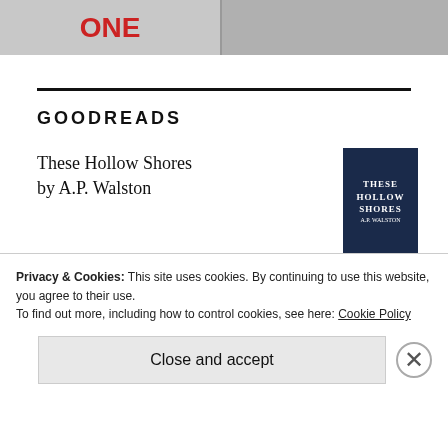[Figure (photo): Two side-by-side lifestyle/fashion photos at the top of the page. Left shows items with text 'ONE', right shows floral arrangement with dark background.]
GOODREADS
These Hollow Shores by A.P. Walston
[Figure (photo): Book cover for These Hollow Shores by A.P. Walston — dark navy cover with decorative text.]
Kushiel's Dart by Jacqueline Carey
[Figure (photo): Book cover for Kushiel's Dart by Jacqueline Carey — blue cover with figure.]
Privacy & Cookies: This site uses cookies. By continuing to use this website, you agree to their use.
To find out more, including how to control cookies, see here: Cookie Policy
Close and accept